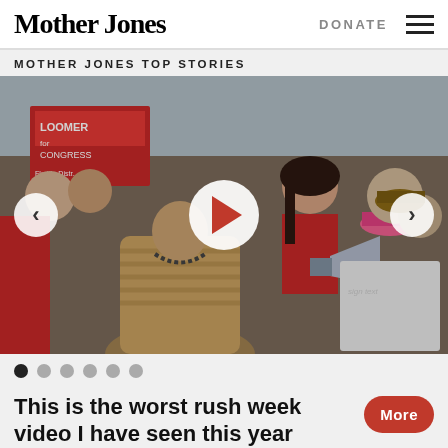Mother Jones | DONATE
MOTHER JONES TOP STORIES
[Figure (photo): Crowd scene at a political rally. A woman in red holds a megaphone, surrounded by supporters wearing MAGA hats and holding signs. A man in a tan striped shirt faces away from the camera in the foreground. Navigation arrows and play button overlay the image.]
This is the worst rush week video I have seen this year